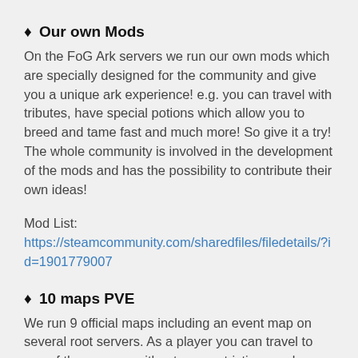♦ Our own Mods
On the FoG Ark servers we run our own mods which are specially designed for the community and give you a unique ark experience! e.g. you can travel with tributes, have special potions which allow you to breed and tame fast and much more! So give it a try! The whole community is involved in the development of the mods and has the possibility to contribute their own ideas!
Mod List:
https://steamcommunity.com/sharedfiles/filedetails/?id=1901779007
♦ 10 maps PVE
We run 9 official maps including an event map on several root servers. As a player you can travel to any of these maps without any restrictions and